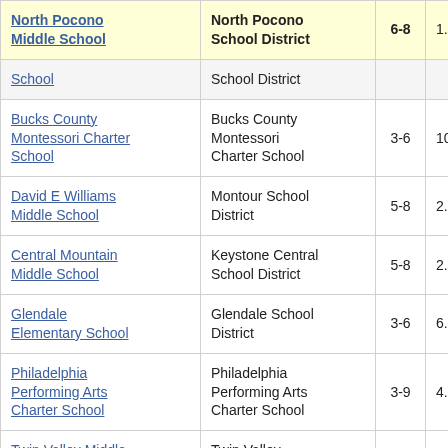| School | District | Grades |  |
| --- | --- | --- | --- |
| North Pocono Middle School | North Pocono School District | 6-8 | 1. |
| School | School District |  |  |
| Bucks County Montessori Charter School | Bucks County Montessori Charter School | 3-6 | 10. |
| David E Williams Middle School | Montour School District | 5-8 | 2. |
| Central Mountain Middle School | Keystone Central School District | 5-8 | 2. |
| Glendale Elementary School | Glendale School District | 3-6 | 6. |
| Philadelphia Performing Arts Charter School | Philadelphia Performing Arts Charter School | 3-9 | 4. |
| Twin Valley Middle School | Twin Valley School District | 5-8 | 2. |
| Independence | Bethel Park |  |  |